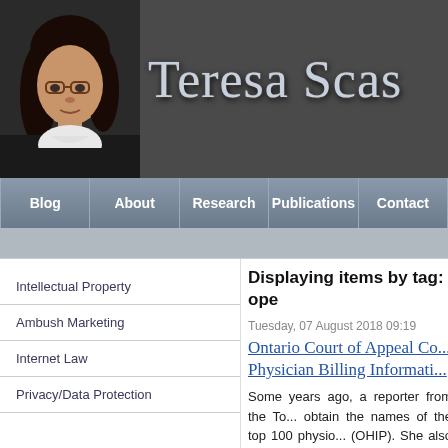[Figure (photo): Header banner with photo of Teresa Scassa (woman with dark hair and glasses) on the left and her name 'Teresa Scas...' in large metallic serif font on a dark gray background]
Blog | About | Research | Publications | Contact
Intellectual Property
Ambush Marketing
Internet Law
Privacy/Data Protection
Displaying items by tag: ope
Tuesday, 07 August 2018 09:19
Ontario Court of Appeal Co... Physician Billing Informati...
Some years ago, a reporter from the To... obtain the names of the top 100 physio... (OHIP). She also sought the amounts bi...